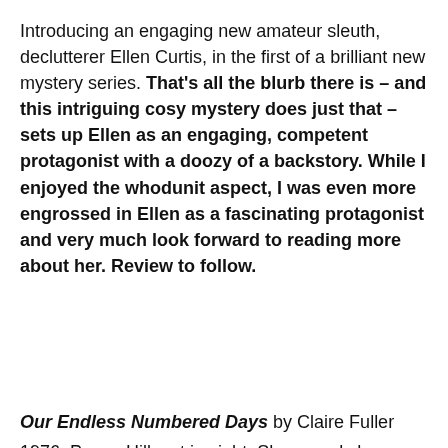Introducing an engaging new amateur sleuth, declutterer Ellen Curtis, in the first of a brilliant new mystery series. That's all the blurb there is – and this intriguing cosy mystery does just that – sets up Ellen as an engaging, competent protagonist with a doozy of a backstory. While I enjoyed the whodunit aspect, I was even more engrossed in Ellen as a fascinating protagonist and very much look forward to reading more about her. Review to follow.
Our Endless Numbered Days by Claire Fuller
1976: Peggy Hillcoat is eight. She spends her summer